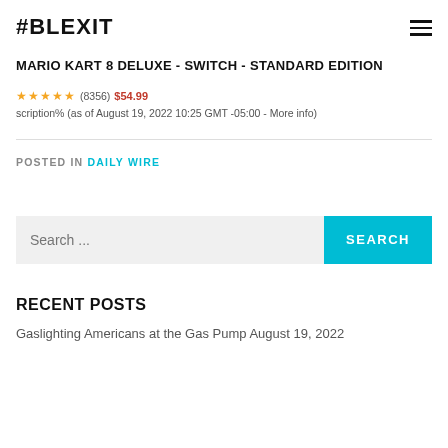#BLEXIT
MARIO KART 8 DELUXE - SWITCH - STANDARD EDITION
★★★★★ (8356) $54.99 scription% (as of August 19, 2022 10:25 GMT -05:00 - More info)
POSTED IN DAILY WIRE
Search ...
RECENT POSTS
Gaslighting Americans at the Gas Pump August 19, 2022